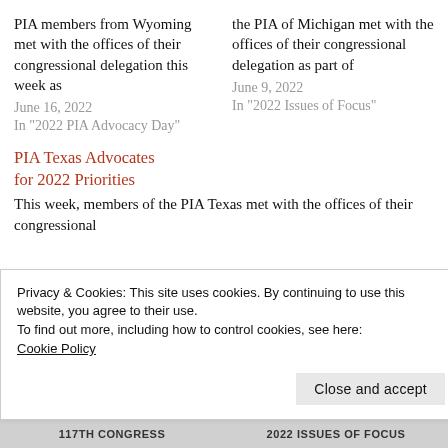PIA members from Wyoming met with the offices of their congressional delegation this week as
June 16, 2022
In "2022 PIA Advocacy Day"
the PIA of Michigan met with the offices of their congressional delegation as part of
June 9, 2022
In "2022 Issues of Focus"
PIA Texas Advocates for 2022 Priorities
This week, members of the PIA Texas met with the offices of their congressional
Privacy & Cookies: This site uses cookies. By continuing to use this website, you agree to their use.
To find out more, including how to control cookies, see here:
Cookie Policy
Close and accept
117TH CONGRESS    2022 ISSUES OF FOCUS